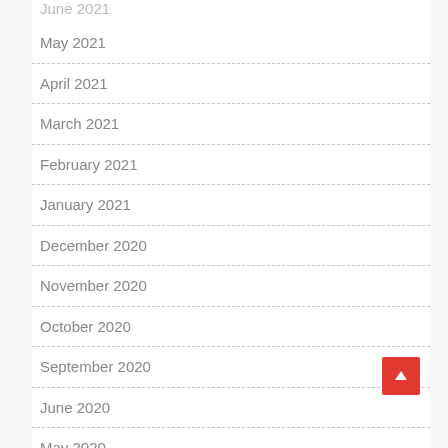May 2021
April 2021
March 2021
February 2021
January 2021
December 2020
November 2020
October 2020
September 2020
June 2020
May 2020
April 2020